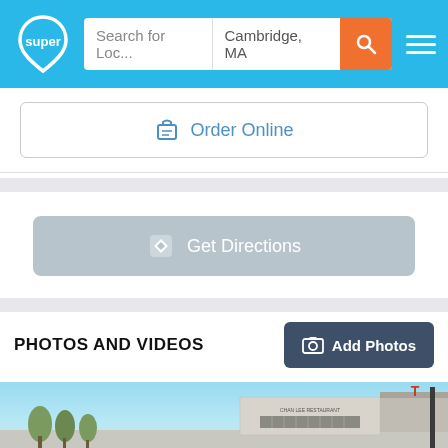super | Search for Loc... | Cambridge, MA
Order Online
Get Directions
PHOTOS AND VIDEOS
Add Photos
[Figure (photo): Exterior photo of a restaurant building with blue sky, palm trees and signage reading 'Chan Lee Restaurant']